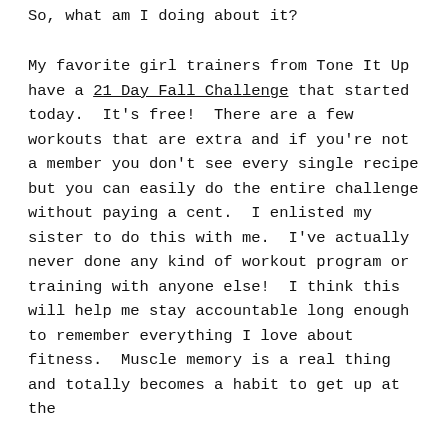So, what am I doing about it?
My favorite girl trainers from Tone It Up have a 21 Day Fall Challenge that started today.  It's free!  There are a few workouts that are extra and if you're not a member you don't see every single recipe but you can easily do the entire challenge without paying a cent.  I enlisted my sister to do this with me.  I've actually never done any kind of workout program or training with anyone else!  I think this will help me stay accountable long enough to remember everything I love about fitness.  Muscle memory is a real thing and totally becomes a habit to get up at the